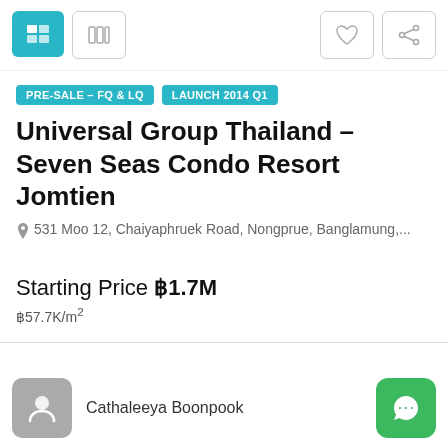[Figure (screenshot): Top navigation bar with icon buttons: active list view icon (blue), grid icon, heart/favorite icon, share icon]
PRE-SALE - FQ & LQ
LAUNCH 2014 Q1
Universal Group Thailand – Seven Seas Condo Resort Jomtien
531 Moo 12, Chaiyaphruek Road, Nongprue, Banglamung,...
Starting Price ฿1.7M
฿57.7K/m²
Overview
Cathaleeya Boonpook